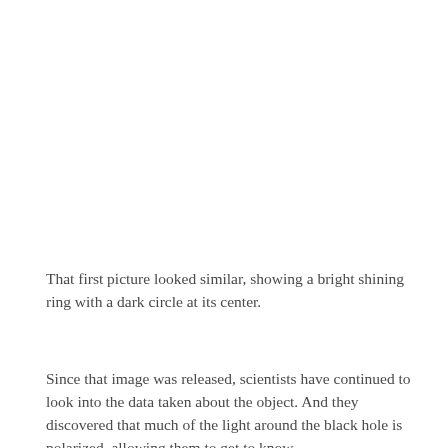That first picture looked similar, showing a bright shining ring with a dark circle at its center.
Since that image was released, scientists have continued to look into the data taken about the object. And they discovered that much of the light around the black hole is polarized, allowing them to get to know